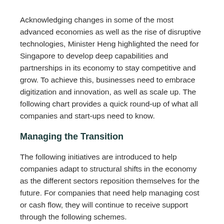Acknowledging changes in some of the most advanced economies as well as the rise of disruptive technologies, Minister Heng highlighted the need for Singapore to develop deep capabilities and partnerships in its economy to stay competitive and grow. To achieve this, businesses need to embrace digitization and innovation, as well as scale up. The following chart provides a quick round-up of what all companies and start-ups need to know.
Managing the Transition
The following initiatives are introduced to help companies adapt to structural shifts in the economy as the different sectors reposition themselves for the future. For companies that need help managing cost or cash flow, they will continue to receive support through the following schemes.